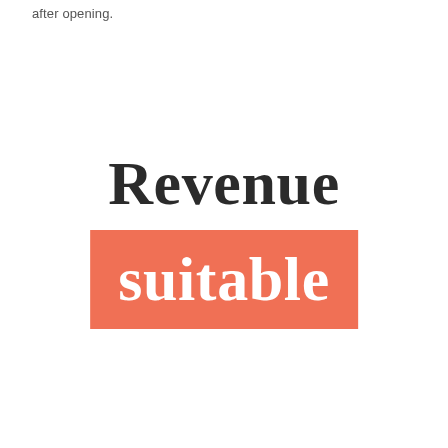after opening.
Revenue
suitable